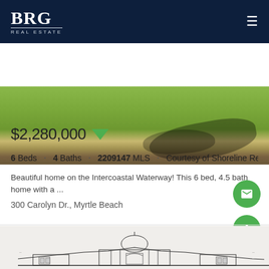BRG REAL ESTATE
[Figure (photo): Aerial or ground-level view of a green grass lawn with tree shadows on the right side]
$2,280,000
6 Beds · 4 Baths · 2209147 MLS · Courtesy of Shoreline Realt...
Beautiful home on the Intercoastal Waterway! This 6 bed, 4.5 bath home with a ...
300 Carolyn Dr., Myrtle Beach
[Figure (engineering-diagram): Architectural front elevation drawing of a large two-story house with columns, arched windows, and decorative facade details]